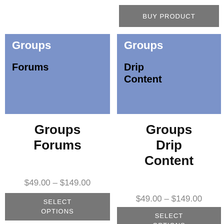BUY PRODUCT
[Figure (screenshot): Blue card with white bold text 'Groups' and black bold text 'Forums']
[Figure (screenshot): Blue card with white bold text 'Groups' and black bold text 'Drip Content']
Groups Forums
Groups Drip Content
$49.00 – $149.00
$49.00 – $149.00
SELECT OPTIONS
SELECT OPTIONS